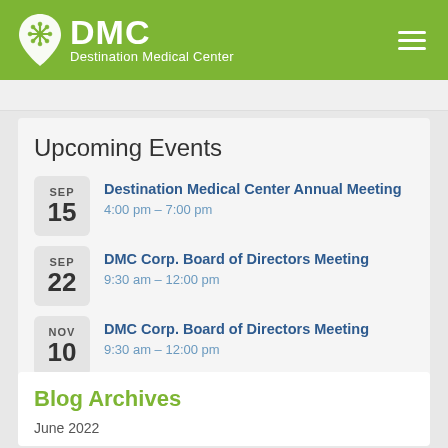[Figure (logo): DMC Destination Medical Center logo with pin/snowflake icon on green header background]
Upcoming Events
SEP 15 — Destination Medical Center Annual Meeting, 4:00 pm – 7:00 pm
SEP 22 — DMC Corp. Board of Directors Meeting, 9:30 am – 12:00 pm
NOV 10 — DMC Corp. Board of Directors Meeting, 9:30 am – 12:00 pm
Blog Archives
June 2022